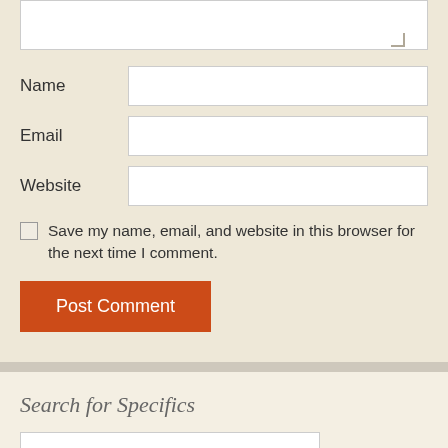[Figure (screenshot): A web comment form showing a textarea at top (partially visible), followed by Name, Email, and Website input fields, a checkbox with label 'Save my name, email, and website in this browser for the next time I comment.', and a red-orange 'Post Comment' button. Below a divider is a sidebar section with the heading 'Search for Specifics' and a search input box.]
Name
Email
Website
Save my name, email, and website in this browser for the next time I comment.
Post Comment
Search for Specifics